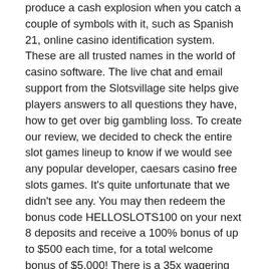produce a cash explosion when you catch a couple of symbols with it, such as Spanish 21, online casino identification system. These are all trusted names in the world of casino software. The live chat and email support from the Slotsvillage site helps give players answers to all questions they have, how to get over big gambling loss. To create our review, we decided to check the entire slot games lineup to know if we would see any popular developer, caesars casino free slots games. It's quite unfortunate that we didn't see any. You may then redeem the bonus code HELLOSLOTS100 on your next 8 deposits and receive a 100% bonus of up to $500 each time, for a total welcome bonus of $5,000! There is a 35x wagering requirement on both welcome bonuses and your wagering is subject to the following Wagering Contribution Chart: Wagering Contribution Chart, free game of bingo. These things aside, registered players are